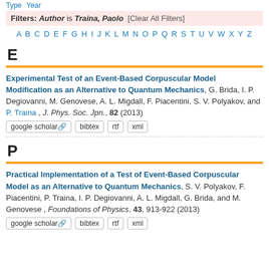Type  Year    Filters: Author is Traina, Paolo  [Clear All Filters]
A B C D E F G H I J K L M N O P Q R S T U V W X Y Z
E
Experimental Test of an Event-Based Corpuscular Model Modification as an Alternative to Quantum Mechanics, G. Brida, I. P. Degiovanni, M. Genovese, A. L. Migdall, F. Piacentini, S. V. Polyakov, and P. Traina , J. Phys. Soc. Jpn., 82 (2013)
google scholar  bibtex  rtf  xml
P
Practical Implementation of a Test of Event-Based Corpuscular Model as an Alternative to Quantum Mechanics, S. V. Polyakov, F. Piacentini, P. Traina, I. P. Degiovanni, A. L. Migdall, G. Brida, and M. Genovese , Foundations of Physics, 43, 913-922 (2013)
google scholar  bibtex  rtf  xml